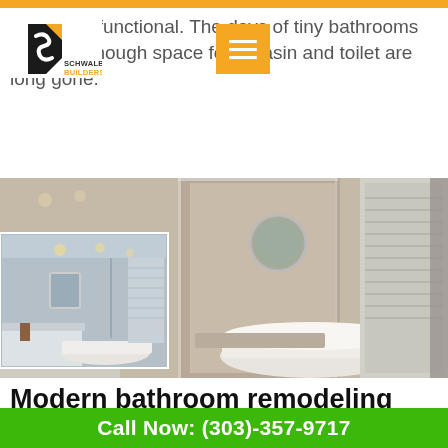Schwalb Builders
extremely functional. The days of tiny bathrooms with just enough space for a basin and toilet are long gone.
[Figure (photo): Modern luxury bathroom with glass shower enclosure, freestanding bathtub, marble walls and an inset photo of another bathroom view]
Modern bathroom remodeling trends 2022 in Denver
Call Now: (303)-357-9717